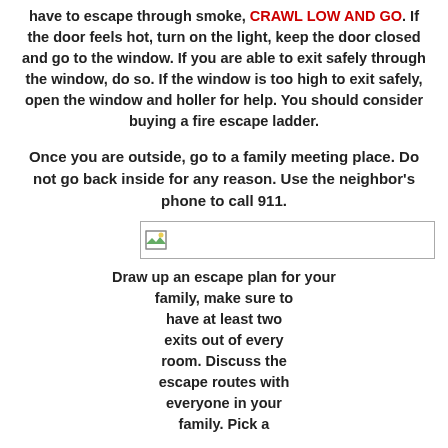have to escape through smoke, CRAWL LOW AND GO. If the door feels hot, turn on the light, keep the door closed and go to the window. If you are able to exit safely through the window, do so. If the window is too high to exit safely, open the window and holler for help. You should consider buying a fire escape ladder.
Once you are outside, go to a family meeting place. Do not go back inside for any reason. Use the neighbor's phone to call 911.
[Figure (illustration): Broken/missing image placeholder icon with border]
Draw up an escape plan for your family, make sure to have at least two exits out of every room. Discuss the escape routes with everyone in your family. Pick a